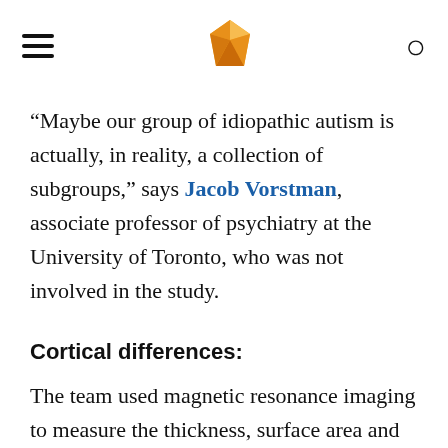[hamburger menu] [gem logo] [search icon]
“Maybe our group of idiopathic autism is actually, in reality, a collection of subgroups,” says Jacob Vorstman, associate professor of psychiatry at the University of Toronto, who was not involved in the study.
Cortical differences:
The team used magnetic resonance imaging to measure the thickness, surface area and volume of the cortex, the brain’s outer layer, in